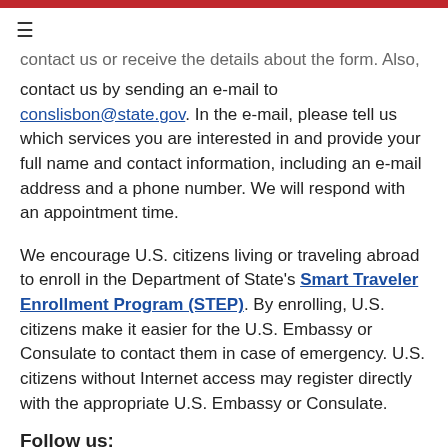...contact us by sending an e-mail to conslisbon@state.gov. In the e-mail, please tell us which services you are interested in and provide your full name and contact information, including an e-mail address and a phone number. We will respond with an appointment time.
We encourage U.S. citizens living or traveling abroad to enroll in the Department of State's Smart Traveler Enrollment Program (STEP). By enrolling, U.S. citizens make it easier for the U.S. Embassy or Consulate to contact them in case of emergency. U.S. citizens without Internet access may register directly with the appropriate U.S. Embassy or Consulate.
Follow us: